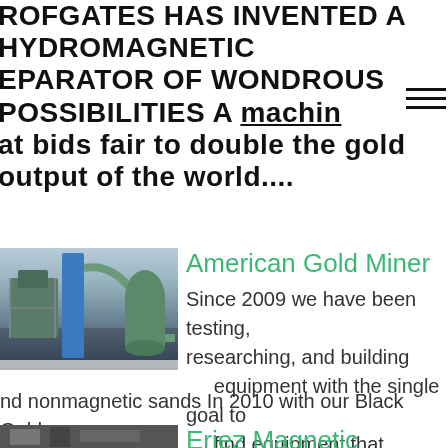ROFGATES HAS INVENTED A HYDROMAGNETIC EPARATOR OF WONDROUS POSSIBILITIES A machine that bids fair to double the gold output of the world....
[Figure (photo): Industrial facility with blue tower/column and large metal equipment structures]
American Gold Miner
Since 2009 we have been testing, researching, and building equipment with the single goal to find equipment that effectively removes fine gold from magnetic and nonmagnetic sands In 2010 with our Black Gold Magnetic Separator we solved fine gold losses trapped in magnetic sands...
[Figure (photo): Partially visible industrial/mining equipment photo at bottom of page]
Eriez Magnetic